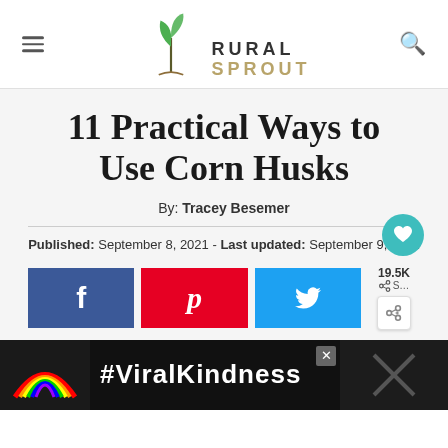Rural Sprout
11 Practical Ways to Use Corn Husks
By: Tracey Besemer
Published: September 8, 2021 - Last updated: September 9, 2021
[Figure (infographic): Social share buttons: Facebook, Pinterest, Twitter, with share count 19.5K and heart/save button]
[Figure (photo): Advertisement banner showing rainbow illustration with text #ViralKindness on dark background]